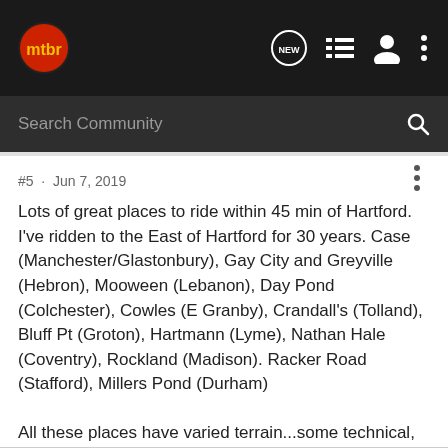mtbr
Search Community
#5 · Jun 7, 2019
Lots of great places to ride within 45 min of Hartford. I've ridden to the East of Hartford for 30 years. Case (Manchester/Glastonbury), Gay City and Greyville (Hebron), Mooween (Lebanon), Day Pond (Colchester), Cowles (E Granby), Crandall's (Tolland), Bluff Pt (Groton), Hartmann (Lyme), Nathan Hale (Coventry), Rockland (Madison). Racker Road (Stafford), Millers Pond (Durham)
All these places have varied terrain...some technical, some not so bad. Trail Forks has some loops shown but most of it you need to get out and explore or follow some locals around.